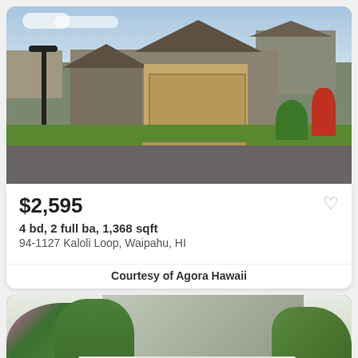[Figure (photo): Exterior photo of a two-story residential home with gray/tan siding, brown garage door, green lawn, and street lamp post]
$2,595
4 bd, 2 full ba, 1,368 sqft
94-1127 Kaloli Loop, Waipahu, HI
Courtesy of Agora Hawaii
[Figure (photo): Exterior photo of a single-story home with white roof surrounded by lush tropical green trees and a rocky cliff/hillside in the background]